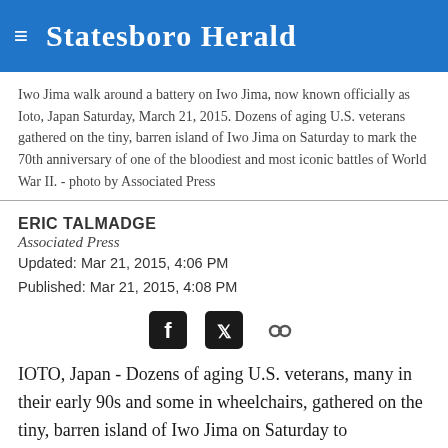Statesboro Herald
Iwo Jima walk around a battery on Iwo Jima, now known officially as Ioto, Japan Saturday, March 21, 2015. Dozens of aging U.S. veterans gathered on the tiny, barren island of Iwo Jima on Saturday to mark the 70th anniversary of one of the bloodiest and most iconic battles of World War II. - photo by Associated Press
ERIC TALMADGE
Associated Press
Updated: Mar 21, 2015, 4:06 PM
Published: Mar 21, 2015, 4:08 PM
[Figure (other): Social share icons: Facebook, Twitter, and link]
IOTO, Japan - Dozens of aging U.S. veterans, many in their early 90s and some in wheelchairs, gathered on the tiny, barren island of Iwo Jima on Saturday to